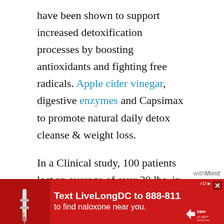have been shown to support increased detoxification processes by boosting antioxidants and fighting free radicals. Apple cider vinegar, digestive enzymes and Capsimax to promote natural daily detox cleanse & weight loss.
In a Clinical study, 100 patients lost an average of over 30 lbs. in 90 days taking 300 mg of stimulant-free Greenselect Phytosome daily with a reduced-calorie diet. Greenselect is a proprietary, caffeine-free extract from green tea contained in Thin 3 probiotic at the 300 mg dose.
A daily probiotic and organic prebiotic with
[Figure (screenshot): Advertisement banner: red background with syringe image, text 'Text LiveLongDC to 888-811 to find naloxone near you.' with DBH logo and close button]
withMind